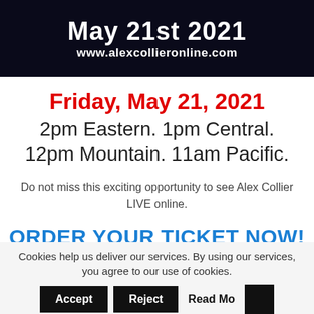[Figure (screenshot): Dark banner with white bold text 'May 21st 2021' and 'www.alexcollieronline.com']
Friday, May 21, 2021
2pm Eastern. 1pm Central. 12pm Mountain. 11am Pacific.
Do not miss this exciting opportunity to see Alex Collier LIVE online.
ORDER YOUR TICKET NOW!
Cookies help us deliver our services. By using our services, you agree to our use of cookies. Accept Reject Read More